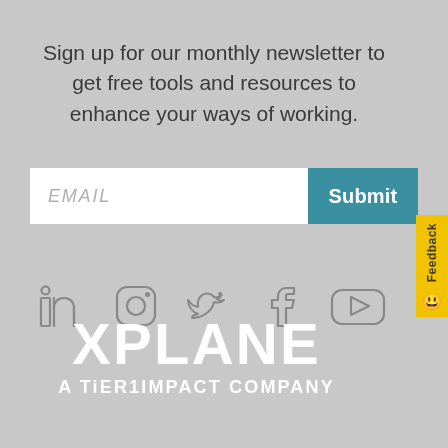Sign up for our monthly newsletter to get free tools and resources to enhance your ways of working.
[Figure (infographic): Email input field with placeholder text EMAIL and a teal Submit button next to it]
[Figure (infographic): A vertical yellow feedback tab on the right edge with the word Feedback rotated and a smiley face icon below]
[Figure (infographic): Row of social media icons: LinkedIn, Instagram, Twitter (bird), Facebook, YouTube]
XPLANE
A TiER1IMPACT COMPANY